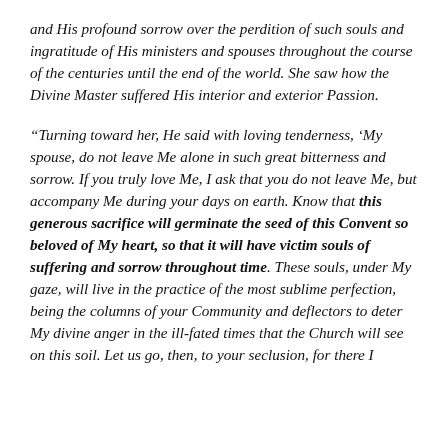and His profound sorrow over the perdition of such souls and ingratitude of His ministers and spouses throughout the course of the centuries until the end of the world. She saw how the Divine Master suffered His interior and exterior Passion.
“Turning toward her, He said with loving tenderness, ‘My spouse, do not leave Me alone in such great bitterness and sorrow. If you truly love Me, I ask that you do not leave Me, but accompany Me during your days on earth. Know that this generous sacrifice will germinate the seed of this Convent so beloved of My heart, so that it will have victim souls of suffering and sorrow throughout time. These souls, under My gaze, will live in the practice of the most sublime perfection, being the columns of your Community and deflectors to deter My divine anger in the ill-fated times that the Church will see on this soil. Let us go, then, to your seclusion, for there I